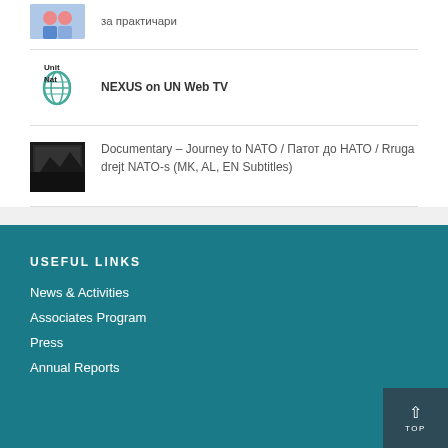за практичари
NEXUS on UN Web TV
Documentary – Journey to NATO / Патот до НАТО / Rruga drejt NATO-s (MK, AL, EN Subtitles)
USEFUL LINKS
News & Activities
Associates Program
Press
Annual Reports